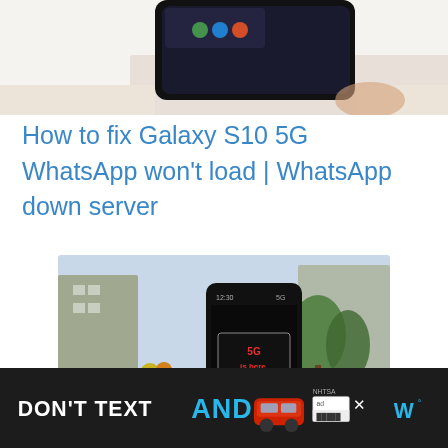[Figure (photo): Partial top view of a Samsung Galaxy smartphone on a table, showing the screen and edge, cropped at top of page]
How to fix Galaxy S10 5G WhatsApp won't load | WhatsApp down server
[Figure (photo): A person holding a Samsung Galaxy S10 5G smartphone outdoors on a city street, with the phone screen showing '5G is here.' in red text on a black background]
How to fix Galaxy S10 5G ... not working
[Figure (other): Advertisement banner: DON'T TEXT AND [car emoji] with NHTSA logo and ad badge, dark background]